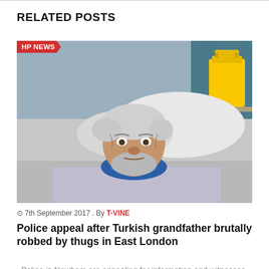RELATED POSTS
[Figure (photo): Elderly man lying in a hospital bed wearing a blue neck brace/cervical collar, with white hair and beard, hospital gown visible, white pillows around him, yellow hazardous waste bin visible in background. Badge overlay reads 'HP NEWS'.]
7th September 2017 . By T-VINE
Police appeal after Turkish grandfather brutally robbed by thugs in East London
Police in Newham are appealing for information and witnesses after an 82-year-old vulnerable man was violently robbed,